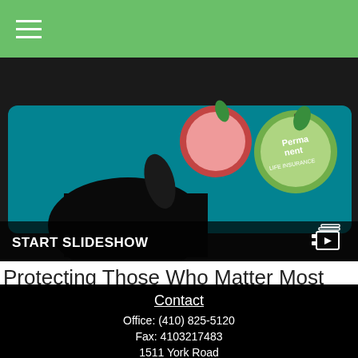Navigation menu (hamburger icon)
[Figure (photo): Hero image showing a hand touching a tablet screen displaying colorful fruit sticker icons including one labeled 'Permanent LIFE INSURANCE'. Image has a dark background with teal/cyan colored tablet surface. At bottom, a dark overlay bar reads 'START SLIDESHOW' with a video/slideshow icon on the right.]
Protecting Those Who Matter Most
The importance of life insurance, how it works, and how much coverage you need.
Contact
Office: (410) 825-5120
Fax: 4103217483
1511 York Road